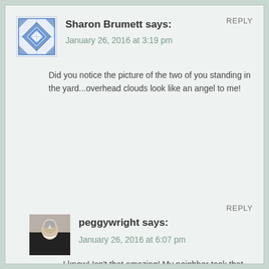REPLY
[Figure (illustration): Blue and white decorative tile/quilt pattern avatar for Sharon Brumett]
Sharon Brumett says:
January 26, 2016 at 3:19 pm
Did you notice the picture of the two of you standing in the yard...overhead clouds look like an angel to me!
REPLY
[Figure (photo): Profile photo of peggywright, showing an older woman with gray hair]
peggywright says:
January 26, 2016 at 6:07 pm
I know! Isn't that amazing! My neighbor took that last summer.